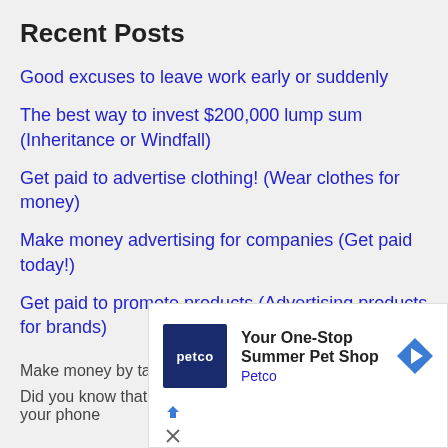Recent Posts
Good excuses to leave work early or suddenly
The best way to invest $200,000 lump sum (Inheritance or Windfall)
Get paid to advertise clothing! (Wear clothes for money)
Make money advertising for companies (Get paid today!)
Get paid to promote products (Advertising products for brands)
Make money by taking online surveys!*
Did you know that you can make some extra cash from your phone
[Figure (other): Petco advertisement banner: Your One-Stop Summer Pet Shop with Petco logo and navigation arrow icon]